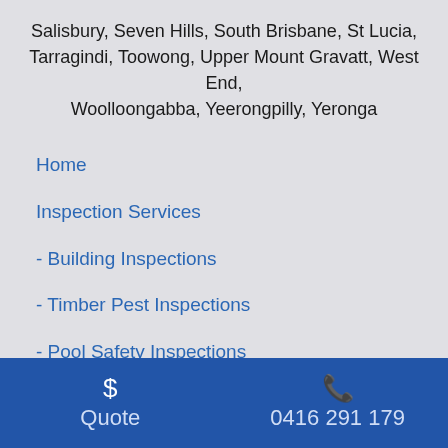Salisbury, Seven Hills, South Brisbane, St Lucia, Tarragindi, Toowong, Upper Mount Gravatt, West End, Woolloongabba, Yeerongpilly, Yeronga
Home
Inspection Services
- Building Inspections
- Timber Pest Inspections
- Pool Safety Inspections
Case Studies
$ Quote    0416 291 179